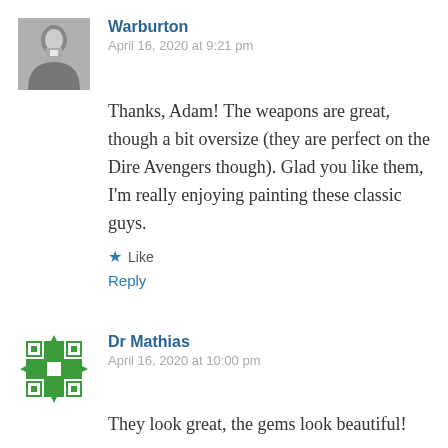[Figure (photo): Grayscale avatar photo of Warburton, a man in formal wear]
Warburton
April 16, 2020 at 9:21 pm
Thanks, Adam! The weapons are great, though a bit oversize (they are perfect on the Dire Avengers though). Glad you like them, I'm really enjoying painting these classic guys.
Like
Reply
[Figure (illustration): Green geometric snowflake/cross avatar icon for Dr Mathias]
Dr Mathias
April 16, 2020 at 10:00 pm
They look great, the gems look beautiful!